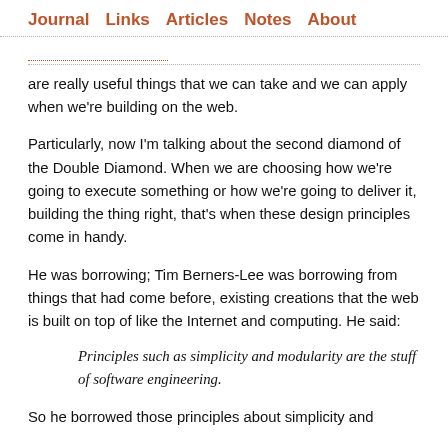Journal   Links   Articles   Notes   About
are really useful things that we can take and we can apply when we're building on the web.
Particularly, now I'm talking about the second diamond of the Double Diamond. When we are choosing how we're going to execute something or how we're going to deliver it, building the thing right, that's when these design principles come in handy.
He was borrowing; Tim Berners-Lee was borrowing from things that had come before, existing creations that the web is built on top of like the Internet and computing. He said:
Principles such as simplicity and modularity are the stuff of software engineering.
So he borrowed those principles about simplicity and